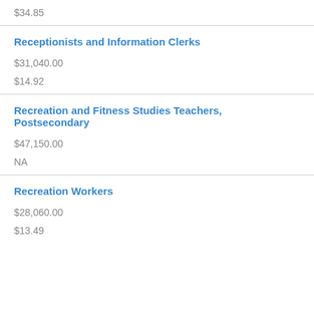$34.85
Receptionists and Information Clerks
$31,040.00
$14.92
Recreation and Fitness Studies Teachers, Postsecondary
$47,150.00
NA
Recreation Workers
$28,060.00
$13.49